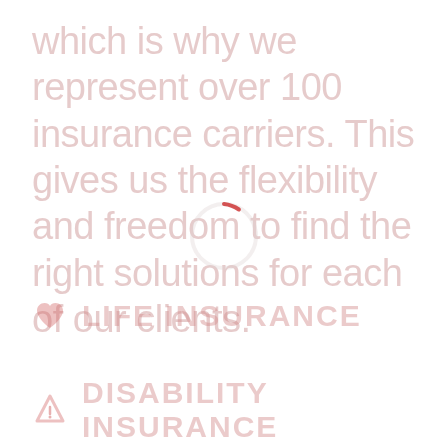which is why we represent over 100 insurance carriers. This gives us the flexibility and freedom to find the right solutions for each of our clients.
[Figure (other): Loading spinner circle, mostly light gray with a small red arc at top right]
LIFE INSURANCE
DISABILITY INSURANCE
CRITICAL ILLNESS